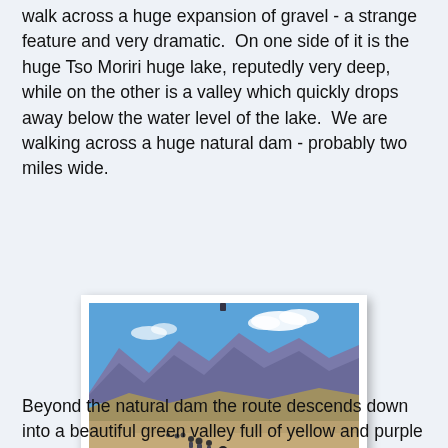walk across a huge expansion of gravel - a strange feature and very dramatic.  On one side of it is the huge Tso Moriri huge lake, reputedly very deep, while on the other is a valley which quickly drops away below the water level of the lake.  We are walking across a huge natural dam - probably two miles wide.
[Figure (photo): People hiking across a wide gravel plain with dramatic mountain range in the background under a blue sky with white clouds.]
Heading down into the valley
Beyond the natural dam the route descends down into a beautiful green valley full of yellow and purple flowers. For some reason the Changpa no longer come here although a